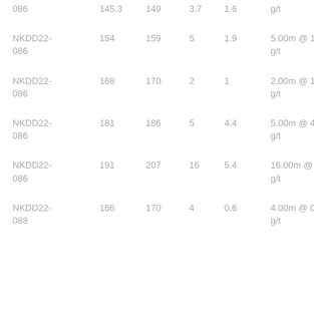| Hole ID | From | To | Width (m) | Grade (g/t Au) | Composites |
| --- | --- | --- | --- | --- | --- |
| 086 | 145.3 | 149 | 3.7 | 1.6 | g/t |
| NKDD22-086 | 154 | 159 | 5 | 1.9 | 5.00m @ 1.9 g/t |
| NKDD22-086 | 168 | 170 | 2 | 1 | 2.00m @ 1.0 g/t |
| NKDD22-086 | 181 | 186 | 5 | 4.4 | 5.00m @ 4.4 g/t |
| NKDD22-086 | 191 | 207 | 16 | 5.4 | 16.00m @ 5.4 g/t |
| NKDD22-088 | 166 | 170 | 4 | 0.6 | 4.00m @ 0.6 g/t |